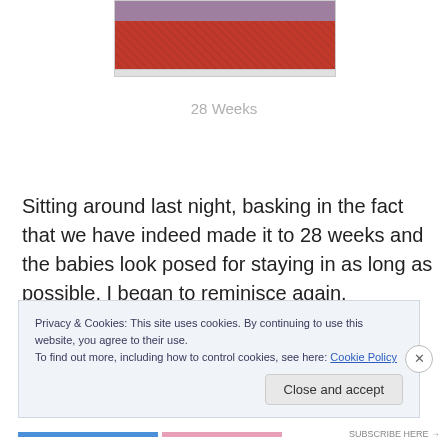[Figure (photo): Partial photo of a pregnant woman wearing a red patterned outfit, cropped to show the midsection area]
28 Weeks
Sitting around last night, basking in the fact that we have indeed made it to 28 weeks and the babies look posed for staying in as long as possible, I began to reminisce again.
Privacy & Cookies: This site uses cookies. By continuing to use this website, you agree to their use.
To find out more, including how to control cookies, see here: Cookie Policy
Close and accept